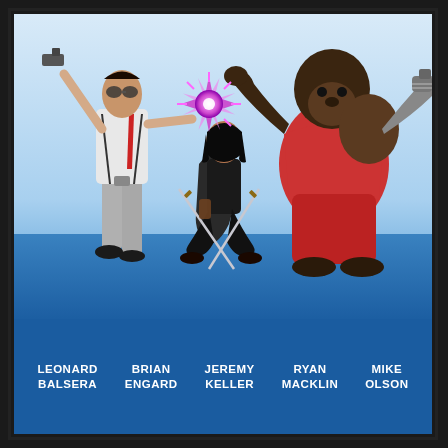[Figure (illustration): Comic book style illustration of three characters in action poses against a light blue/white sky background: left - a man in white shirt, grey trousers, red tie and goggles firing a gun upward; center - a woman in dark outfit with black hair holding swords in a crouching pose; right - a large gorilla-like creature in a red outfit with a robotic arm, with a purple energy burst between the man and gorilla. The lower portion has a solid blue background that extends behind the characters.]
LEONARD BALSERA  BRIAN ENGARD  JEREMY KELLER  RYAN MACKLIN  MIKE OLSON